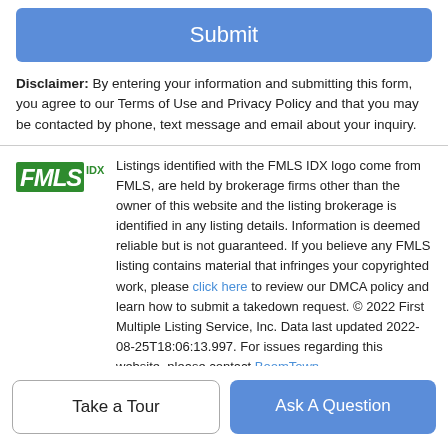[Figure (other): Blue Submit button]
Disclaimer: By entering your information and submitting this form, you agree to our Terms of Use and Privacy Policy and that you may be contacted by phone, text message and email about your inquiry.
[Figure (logo): FMLS IDX logo in green]
Listings identified with the FMLS IDX logo come from FMLS, are held by brokerage firms other than the owner of this website and the listing brokerage is identified in any listing details. Information is deemed reliable but is not guaranteed. If you believe any FMLS listing contains material that infringes your copyrighted work, please click here to review our DMCA policy and learn how to submit a takedown request. © 2022 First Multiple Listing Service, Inc. Data last updated 2022-08-25T18:06:13.997. For issues regarding this website, please contact BoomTown.
[Figure (other): Take a Tour and Ask A Question buttons at bottom]